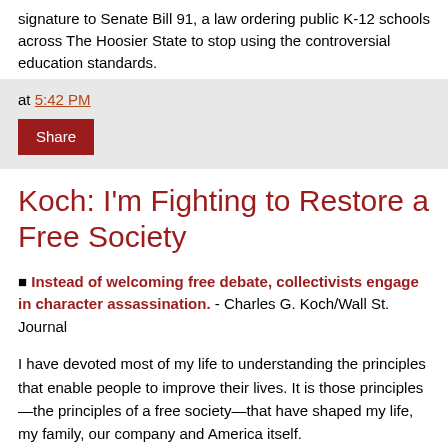signature to Senate Bill 91, a law ordering public K-12 schools across The Hoosier State to stop using the controversial education standards.
at 5:42 PM
Share
Koch: I'm Fighting to Restore a Free Society
■ Instead of welcoming free debate, collectivists engage in character assassination. - Charles G. Koch/Wall St. Journal
I have devoted most of my life to understanding the principles that enable people to improve their lives. It is those principles—the principles of a free society—that have shaped my life, my family, our company and America itself.